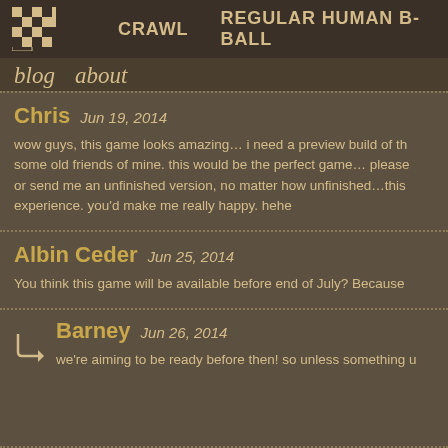Crawl  Regular Human B-Ball
blog  about
Chris  Jun 19, 2014
wow guys, this game looks amazing… i need a preview build of th… some old friends of mine. this would be the perfect game… please or send me an unfinished version, no matter how unfinished…this experience. you'd make me really happy. hehe
Albin Ceder  Jun 25, 2014
You think this game will be available before end of July? Because
Barney  Jun 26, 2014
we're aiming to be ready before then! so unless something u…